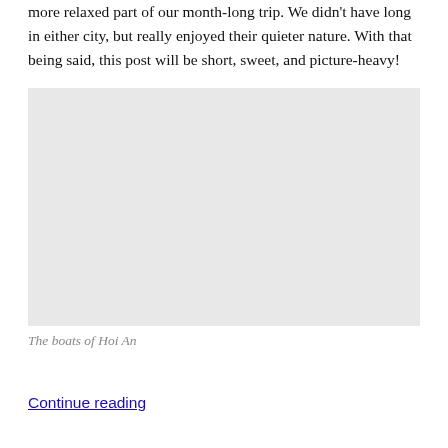more relaxed part of our month-long trip. We didn't have long in either city, but really enjoyed their quieter nature. With that being said, this post will be short, sweet, and picture-heavy!
[Figure (photo): A photo of boats in Hoi An]
The boats of Hoi An
Continue reading